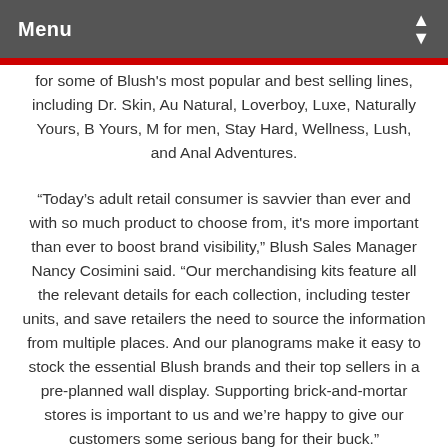Menu
for some of Blush's most popular and best selling lines, including Dr. Skin, Au Natural, Loverboy, Luxe, Naturally Yours, B Yours, M for men, Stay Hard, Wellness, Lush, and Anal Adventures.
“Today’s adult retail consumer is savvier than ever and with so much product to choose from, it's more important than ever to boost brand visibility,” Blush Sales Manager Nancy Cosimini said. “Our merchandising kits feature all the relevant details for each collection, including tester units, and save retailers the need to source the information from multiple places. And our planograms make it easy to stock the essential Blush brands and their top sellers in a pre-planned wall display. Supporting brick-and-mortar stores is important to us and we’re happy to give our customers some serious bang for their buck.”